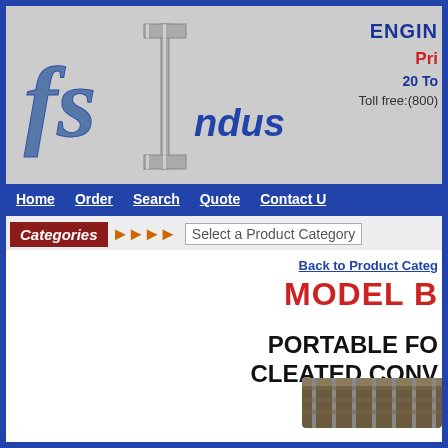[Figure (logo): FSI Industries logo with stylized 'fSI' text in chrome/steel style and 'industries' in blue]
ENGIN... Pri... 20 To... Toll free:(800)...
Home | Order | Search | Quote | Contact U...
Categories >>> Select a Product Category
Back to Product Categ...
MODEL B...
PORTABLE FO... CLEATED CONV...
[Figure (photo): Partial view of a portable folding cleated conveyor belt product]